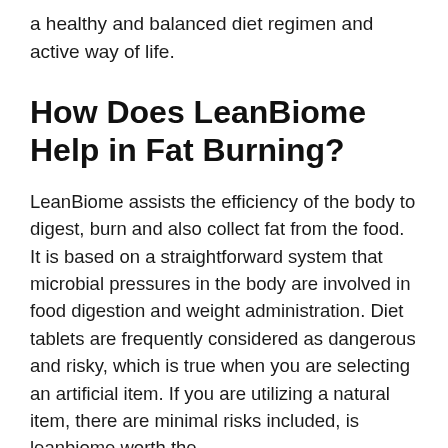a healthy and balanced diet regimen and active way of life.
How Does LeanBiome Help in Fat Burning?
LeanBiome assists the efficiency of the body to digest, burn and also collect fat from the food. It is based on a straightforward system that microbial pressures in the body are involved in food digestion and weight administration. Diet tablets are frequently considered as dangerous and risky, which is true when you are selecting an artificial item. If you are utilizing a natural item, there are minimal risks included, is leanbiome worth the